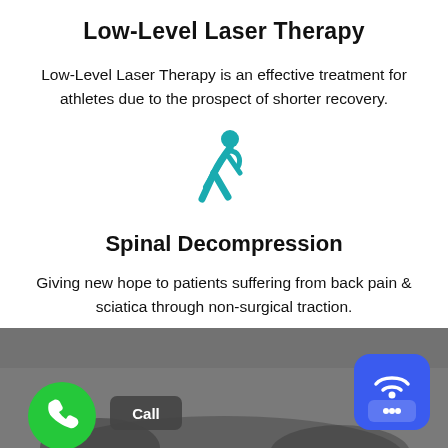Low-Level Laser Therapy
Low-Level Laser Therapy is an effective treatment for athletes due to the prospect of shorter recovery.
[Figure (illustration): Teal icon of a person hiking/walking with a backpack]
Spinal Decompression
Giving new hope to patients suffering from back pain & sciatica through non-surgical traction.
[Figure (screenshot): Screenshot of a video call or website with a green phone call button, a 'Call' label, and a blue chat/broadcast button in the bottom right corner]